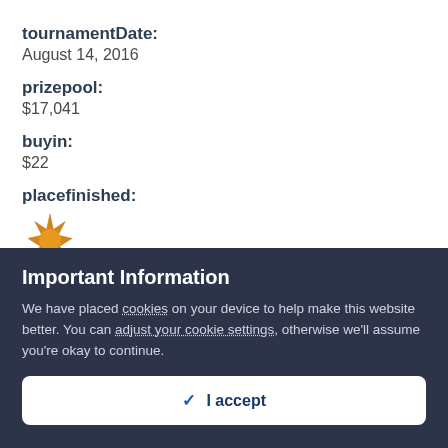tournamentDate:
August 14, 2016
prizepool:
$17,041
buyin:
$22
placefinished:
[Figure (illustration): Gold/orange sunburst badge icon representing first place finish]
amountwon:
$1,367
Important Information
We have placed cookies on your device to help make this website better. You can adjust your cookie settings, otherwise we'll assume you're okay to continue.
✓  I accept